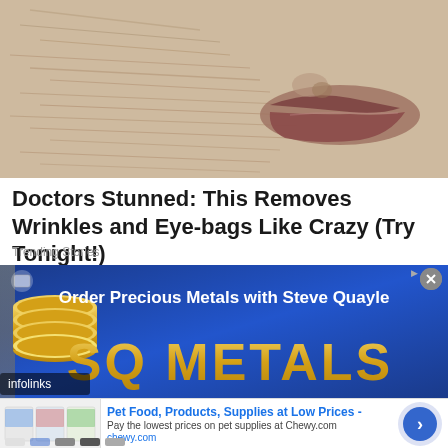[Figure (photo): Close-up photo of aged skin showing wrinkles and lips]
Doctors Stunned: This Removes Wrinkles and Eye-bags Like Crazy (Try Tonight!)
Trending Stories
[Figure (photo): Advertisement banner for SQ Metals - Order Precious Metals with Steve Quayle, with infolinks badge and gold coin imagery]
[Figure (photo): Pet Food, Products, Supplies at Low Prices - Pay the lowest prices on pet supplies at Chewy.com — chewy.com advertisement with product images and arrow button]